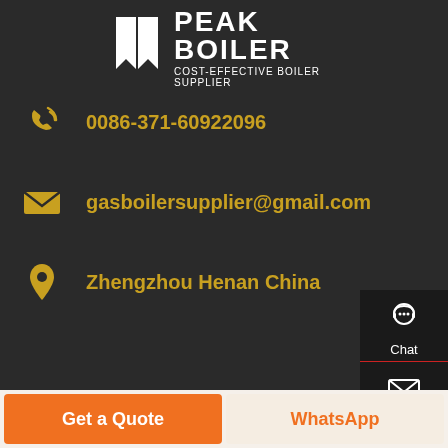[Figure (logo): Peak Boiler logo with bookmark icon and text 'PEAK BOILER / COST-EFFECTIVE BOILER SUPPLIER']
0086-371-60922096
gasboilersupplier@gmail.com
Zhengzhou Henan China
Chat
Email
Contact
Get a Quote
WhatsApp